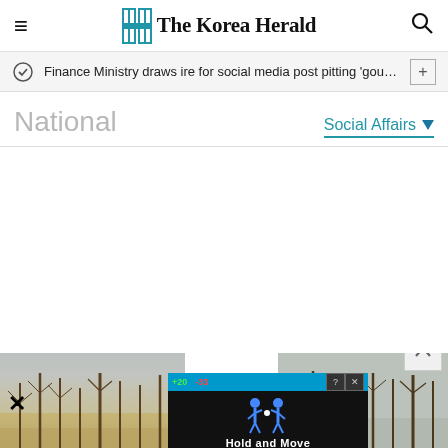The Korea Herald
Finance Ministry draws ire for social media post pitting 'gourmet ···
National
Social Affairs
[Figure (photo): Outdoor winter scene with bare trees, partially covered by a dark advertisement overlay showing 'Hold and Move' with figure icons and colored bars]
Hold and Move